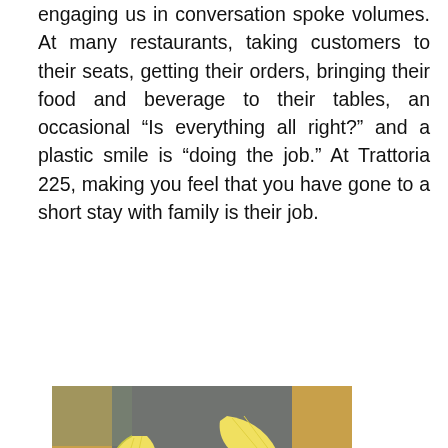engaging us in conversation spoke volumes. At many restaurants, taking customers to their seats, getting their orders, bringing their food and beverage to their tables, an occasional “Is everything all right?” and a plastic smile is “doing the job.” At Trattoria 225, making you feel that you have gone to a short stay with family is their job.
[Figure (photo): A glass of orange-yellow juice or cocktail with two lemon wedge garnishes on the rim, photographed close-up on a wooden surface with a blurred background.]